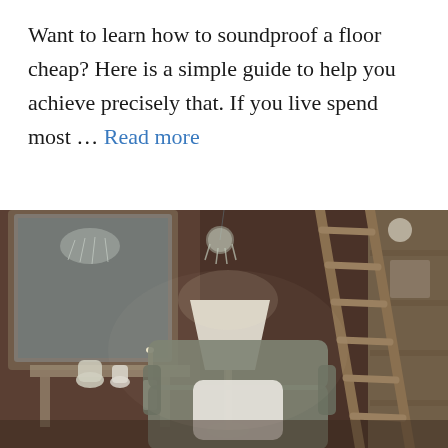Want to learn how to soundproof a floor cheap? Here is a simple guide to help you achieve precisely that. If you live spend most … Read more
[Figure (photo): Interior room photo showing a cozy living room with dark brown walls, a large ornate mirror, a table lamp, a wingback armchair with a white pillow, a wooden ladder leaning against shelving, and a wall sconce lamp.]